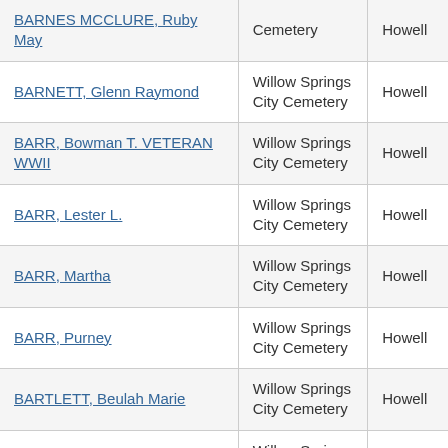| Name | Cemetery | County |
| --- | --- | --- |
| BARNES MCCLURE, Ruby May | Cemetery | Howell |
| BARNETT, Glenn Raymond | Willow Springs City Cemetery | Howell |
| BARR, Bowman T. VETERAN WWII | Willow Springs City Cemetery | Howell |
| BARR, Lester L. | Willow Springs City Cemetery | Howell |
| BARR, Martha | Willow Springs City Cemetery | Howell |
| BARR, Purney | Willow Springs City Cemetery | Howell |
| BARTLETT, Beulah Marie | Willow Springs City Cemetery | Howell |
| BARTLETT, Darryl Keith | Willow Springs City Cemetery | Howell |
| BARTLETT, Jimmy Dean | Willow Springs City Cemetery | Howell |
| BARTLETT, Leland Paul VETERAN | Willow Springs City | Howell |